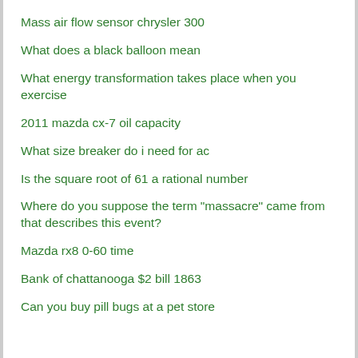Mass air flow sensor chrysler 300
What does a black balloon mean
What energy transformation takes place when you exercise
2011 mazda cx-7 oil capacity
What size breaker do i need for ac
Is the square root of 61 a rational number
Where do you suppose the term "massacre" came from that describes this event?
Mazda rx8 0-60 time
Bank of chattanooga $2 bill 1863
Can you buy pill bugs at a pet store